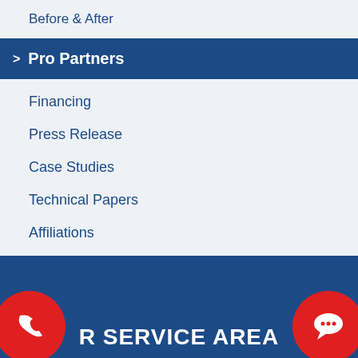Before & After
Pro Partners
Financing
Press Release
Case Studies
Technical Papers
Affiliations
Refer
R SERVICE AREA
[Figure (illustration): Red circle phone icon on dark blue background, bottom left]
[Figure (illustration): Red circle chat/speech bubble icon on dark blue background, bottom right]